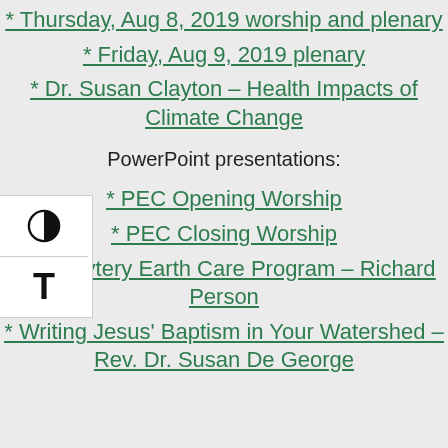* Thursday, Aug 8, 2019 worship and plenary
* Friday, Aug 9, 2019 plenary
* Dr. Susan Clayton – Health Impacts of Climate Change
PowerPoint presentations:
* PEC Opening Worship
* PEC Closing Worship
* Presbytery Earth Care Program – Richard Person
* Writing Jesus' Baptism in Your Watershed – Rev. Dr. Susan De George